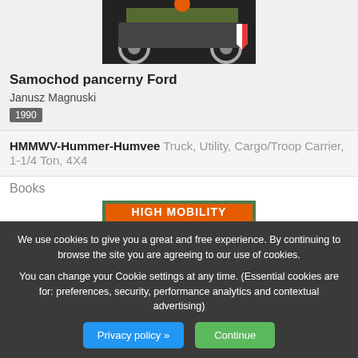[Figure (photo): Top portion of a book cover showing an old armored car illustration]
Samochod pancerny Ford
Janusz Magnuski
1990
HMMWV-Hummer-Humvee Truck, Utility, Cargo/Troop Carrier, 1-1/4 Ton, 4X4
Books
[Figure (photo): Book cover showing a military Humvee vehicle with orange title text 'HIGH MOBILITY']
We use cookies to give you a great and free experience. By continuing to browse the site you are agreeing to our use of cookies.

You can change your Cookie settings at any time. (Essential cookies are for: preferences, security, performance analytics and contextual advertising)
Privacy policy »
Continue